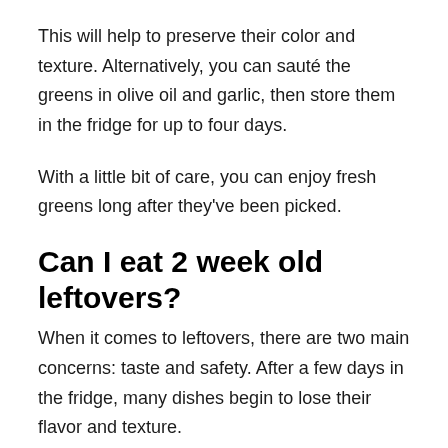This will help to preserve their color and texture. Alternatively, you can sauté the greens in olive oil and garlic, then store them in the fridge for up to four days.
With a little bit of care, you can enjoy fresh greens long after they've been picked.
Can I eat 2 week old leftovers?
When it comes to leftovers, there are two main concerns: taste and safety. After a few days in the fridge, many dishes begin to lose their flavor and texture.
However, this is not always the case. Some dishes,